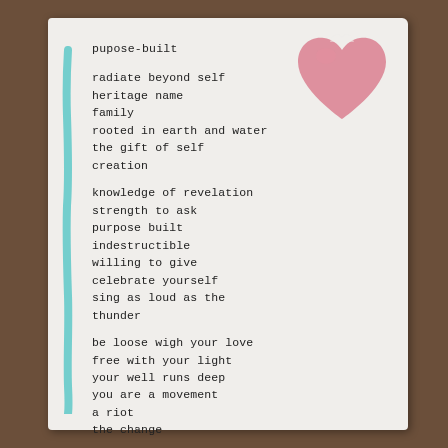[Figure (illustration): A pink watercolor heart shape in the upper right corner of the card]
[Figure (illustration): A vertical teal/cyan brushstroke or painted line along the left edge of the card]
pupose-built
radiate beyond self
heritage name
family
rooted in earth and water
the gift of self
creation
knowledge of revelation
strength to ask
purpose built
indestructible
willing to give
celebrate yourself
sing as loud as the
thunder
be loose wigh your love
free with your light
your well runs deep
you are a movement
a riot
the change